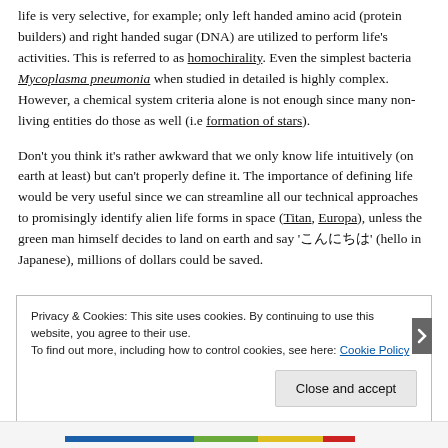life is very selective, for example; only left handed amino acid (protein builders) and right handed sugar (DNA) are utilized to perform life's activities. This is referred to as homochirality. Even the simplest bacteria Mycoplasma pneumonia when studied in detailed is highly complex. However, a chemical system criteria alone is not enough since many non-living entities do those as well (i.e formation of stars).
Don't you think it's rather awkward that we only know life intuitively (on earth at least) but can't properly define it. The importance of defining life would be very useful since we can streamline all our technical approaches to promisingly identify alien life forms in space (Titan, Europa), unless the green man himself decides to land on earth and say 'こんにちは' (hello in Japanese), millions of dollars could be saved.
Privacy & Cookies: This site uses cookies. By continuing to use this website, you agree to their use. To find out more, including how to control cookies, see here: Cookie Policy